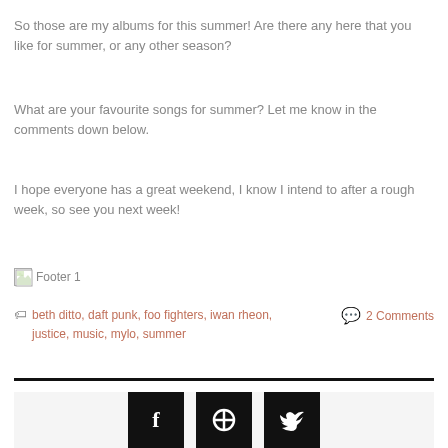So those are my albums for this summer! Are there any here that you like for summer, or any other season?
What are your favourite songs for summer? Let me know in the comments down below.
I hope everyone has a great weekend, I know I intend to after a rough week, so see you next week!
[Figure (other): Broken image placeholder labeled 'Footer 1']
beth ditto, daft punk, foo fighters, iwan rheon, justice, music, mylo, summer | 2 Comments
[Figure (other): Social media share buttons (Facebook, Google+, Twitter) on a light grey background]